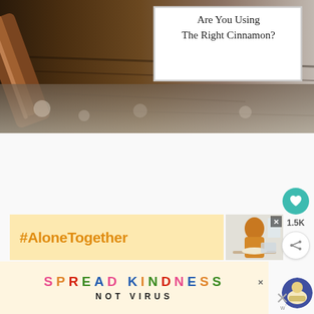[Figure (photo): Top banner image showing cinnamon sticks on dark wood background with a white box overlay containing the text 'Are You Using The Right Cinnamon?']
Are You Using The Right Cinnamon?
[Figure (infographic): #AloneTogether hashtag banner with yellow background and a small photo of a woman in orange top eating at a table with a laptop]
#AloneTogether
[Figure (infographic): SPREAD KINDNESS NOT VIRUS banner on cream/yellow background with multicolored letters]